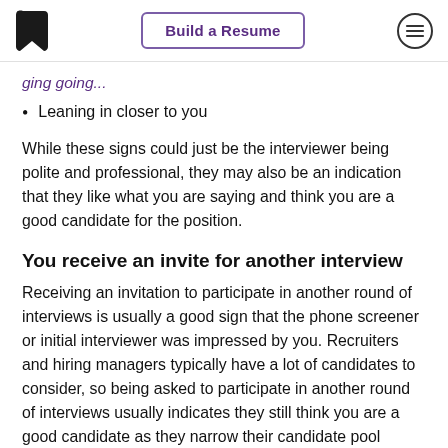Build a Resume
Leaning in closer to you
While these signs could just be the interviewer being polite and professional, they may also be an indication that they like what you are saying and think you are a good candidate for the position.
You receive an invite for another interview
Receiving an invitation to participate in another round of interviews is usually a good sign that the phone screener or initial interviewer was impressed by you. Recruiters and hiring managers typically have a lot of candidates to consider, so being asked to participate in another round of interviews usually indicates they still think you are a good candidate as they narrow their candidate pool down.